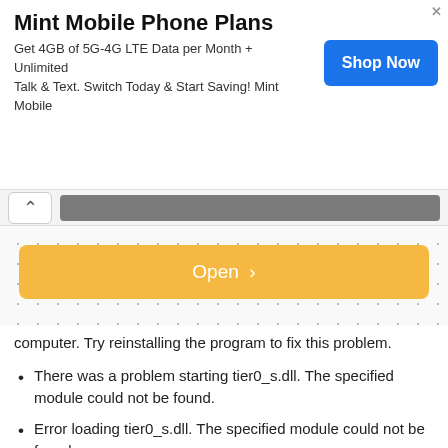[Figure (screenshot): Mint Mobile advertisement banner with title 'Mint Mobile Phone Plans', subtext about 4GB 5G-4G LTE data and unlimited talk and text, a blue 'Shop Now' button, and a close X button]
[Figure (screenshot): Browser navigation bar with a back/up chevron button and a gray URL bar]
[Figure (screenshot): Dotted grid background area with an orange 'Open >' button centered in the middle]
computer. Try reinstalling the program to fix this problem.
There was a problem starting tier0_s.dll. The specified module could not be found.
Error loading tier0_s.dll. The specified module could not be found.
The code execution cannot proceed because tier0_s.dll was not found. Reinstalling the program